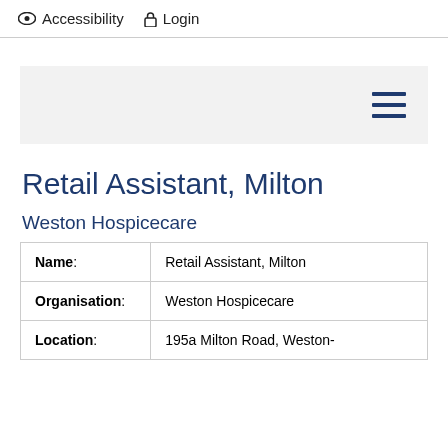Accessibility  Login
Retail Assistant, Milton
Weston Hospicecare
| Name: | Retail Assistant, Milton |
| Organisation: | Weston Hospicecare |
| Location: | 195a Milton Road, Weston- |